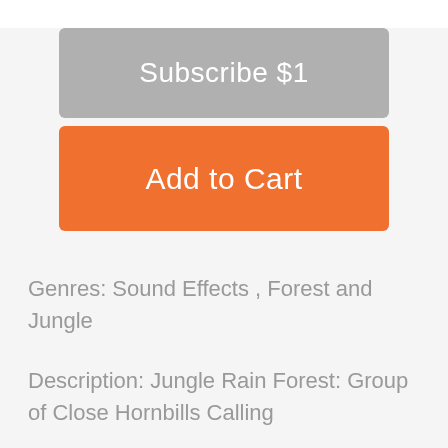Subscribe $1
Add to Cart
Genres: Sound Effects , Forest and Jungle
Description: Jungle Rain Forest: Group of Close Hornbills Calling
Add to Favorites